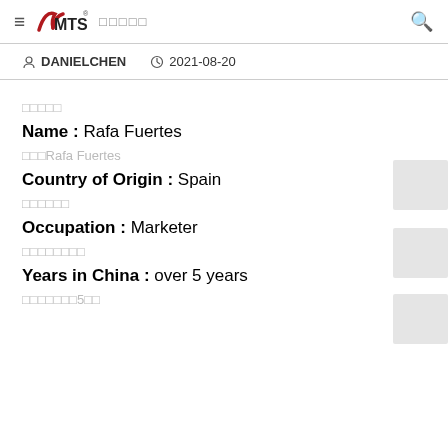≡ MTS □□□□□ 🔍
DANIELCHEN  2021-08-20
□□□□□
Name : Rafa Fuertes
□□□Rafa Fuertes
Country of Origin : Spain
□□□□□□
Occupation : Marketer
□□□□□□□□
Years in China : over 5 years
□□□□□□□5□□